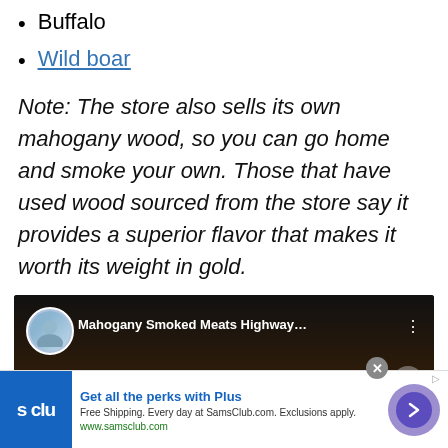Buffalo
Wild boar
Note: The store also sells its own mahogany wood, so you can go home and smoke your own. Those that have used wood sourced from the store say it provides a superior flavor that makes it worth its weight in gold.
[Figure (screenshot): YouTube video thumbnail showing 'Mahogany Smoked Meats Highway...' with a circular avatar of a person on the left, video title in white text, and three-dot menu icon on the right, on a dark background.]
[Figure (screenshot): Advertisement banner for Sam's Club showing blue logo with 's clu' text, headline 'Get all the perks with Plus', subtext 'Free Shipping. Every day at SamsClub.com. Exclusions apply.' and URL 'www.samsclub.com', with a purple circular CTA button with right arrow, and a close X button.]